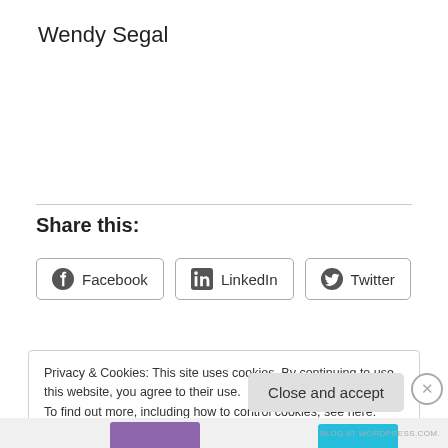Wendy Segal
Share this:
[Figure (other): Social sharing buttons: Facebook, LinkedIn, Twitter]
Privacy & Cookies: This site uses cookies. By continuing to use this website, you agree to their use.
To find out more, including how to control cookies, see here: Cookie Policy
Close and accept